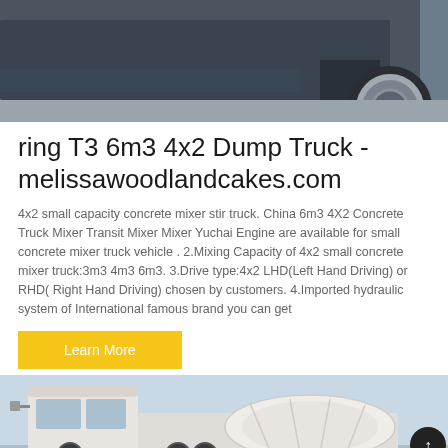[Figure (photo): Top portion of a dump truck, showing the rear and a tire, photographed from behind against a dark background.]
ring T3 6m3 4x2 Dump Truck - melissawoodlandcakes.com
4x2 small capacity concrete mixer stir truck. China 6m3 4X2 Concrete Truck Mixer Transit Mixer Mixer Yuchai Engine are available for small concrete mixer truck vehicle . 2.Mixing Capacity of 4x2 small concrete mixer truck:3m3 4m3 6m3. 3.Drive type:4x2 LHD(Left Hand Driving) or RHD( Right Hand Driving) chosen by customers. 4.Imported hydraulic system of International famous brand you can get
Learn More
[Figure (photo): Bottom portion of page showing a concrete mixer truck (white cab and mixing drum) photographed against a light sky background.]